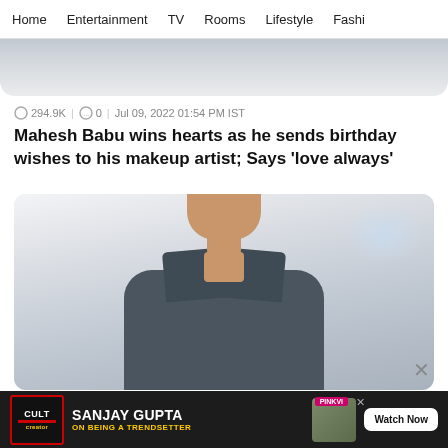Home | Entertainment | TV | Rooms | Lifestyle | Fashi
[Figure (photo): Partial top of an article image showing a blurred background]
294.9K  |  0  |  Jul 09, 2022 01:54 PM IST
Mahesh Babu wins hearts as he sends birthday wishes to his makeup artist; Says 'love always'
[Figure (photo): Photo of Mahesh Babu, a male actor with dark hair wearing an open grey/dark shirt, against a light background]
[Figure (infographic): Advertisement banner: CULT Creator logo, SANJAY GUPTA ON BEING A TRENDSETTER, with Watch Now button and PinkVilla branding]